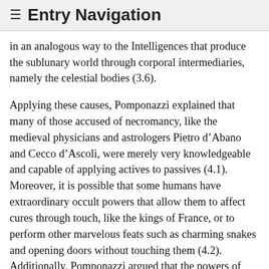≡ Entry Navigation
in an analogous way to the Intelligences that produce the sublunary world through corporal intermediaries, namely the celestial bodies (3.6).
Applying these causes, Pomponazzi explained that many of those accused of necromancy, like the medieval physicians and astrologers Pietro d'Abano and Cecco d'Ascoli, were merely very knowledgeable and capable of applying actives to passives (4.1). Moreover, it is possible that some humans have extraordinary occult powers that allow them to affect cures through touch, like the kings of France, or to perform other marvelous feats such as charming snakes and opening doors without touching them (4.2). Additionally, Pomponazzi argued that the powers of imagination can produce real effects. For example, he cited the widespread belief that women's thoughts at the time of conception will produce a fetus that is similar to those thoughts. Therefore, the power of fascination and imaginative powers transmitted through vapors might explain unexpected cures and diseases just as they are supposedly responsible for the spread of